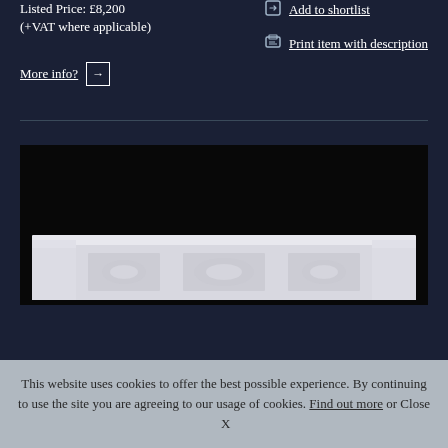Listed Price: £8,200 (+VAT where applicable)
Add to shortlist
Print item with description
More info? →
[Figure (photo): Photograph of an ornate white marble fireplace mantel with carved floral decorations on a black background. The mantel features decorative carved panels with floral motifs in the centre and on the sides, with a flat shelf top supported by pilasters.]
This website uses cookies to offer the best possible experience. By continuing to use the site you are agreeing to our usage of cookies. Find out more or Close  X